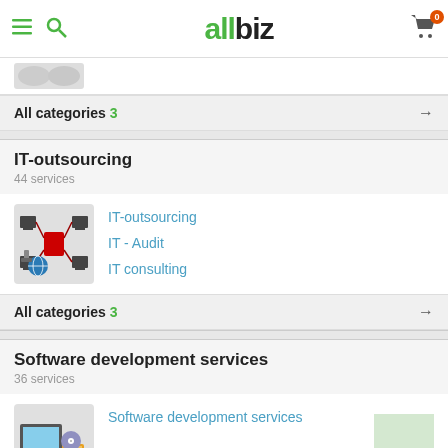allbiz
All categories 3
IT-outsourcing
44 services
[Figure (illustration): IT network/outsourcing icon with computers linked to a central server and a globe]
IT-outsourcing
IT - Audit
IT consulting
All categories 3
Software development services
36 services
[Figure (illustration): Software development icon with a laptop and software boxes/discs]
Software development services
All categories 1